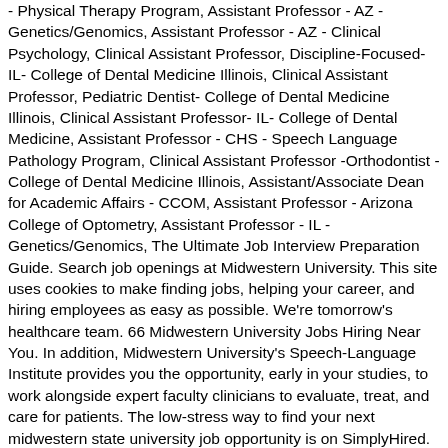- Physical Therapy Program, Assistant Professor - AZ - Genetics/Genomics, Assistant Professor - AZ - Clinical Psychology, Clinical Assistant Professor, Discipline-Focused- IL- College of Dental Medicine Illinois, Clinical Assistant Professor, Pediatric Dentist- College of Dental Medicine Illinois, Clinical Assistant Professor- IL- College of Dental Medicine, Assistant Professor - CHS - Speech Language Pathology Program, Clinical Assistant Professor -Orthodontist - College of Dental Medicine Illinois, Assistant/Associate Dean for Academic Affairs - CCOM, Assistant Professor - Arizona College of Optometry, Assistant Professor - IL - Genetics/Genomics, The Ultimate Job Interview Preparation Guide. Search job openings at Midwestern University. This site uses cookies to make finding jobs, helping your career, and hiring employees as easy as possible. We're tomorrow's healthcare team. 66 Midwestern University Jobs Hiring Near You. In addition, Midwestern University's Speech-Language Institute provides you the opportunity, early in your studies, to work alongside expert faculty clinicians to evaluate, treat, and care for patients. The low-stress way to find your next midwestern state university job opportunity is on SimplyHired. ), you are trained to practice with a whole-person approach to healthcare. Best Cities for Jobs 2020 NEW! Midwestern